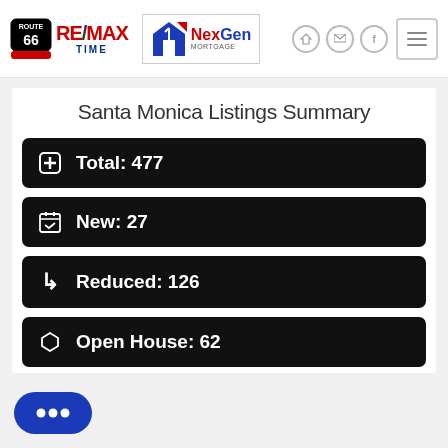RE/MAX TIME — NexGen Mortgage header
Santa Monica Listings Summary
Total: 477
New: 27
Reduced: 126
Open House: 62